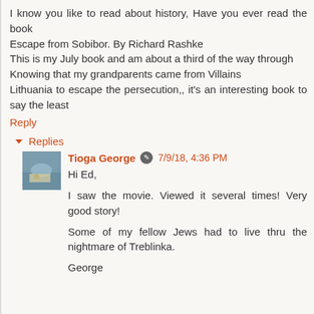I know you like to read about history, Have you ever read the book
Escape from Sobibor. By Richard Rashke
This is my July book and am about a third of the way through
Knowing that my grandparents came from Villains
Lithuania to escape the persecution,, it's an interesting book to say the least
Reply
▾ Replies
Tioga George  7/9/18, 4:36 PM
Hi Ed,

I saw the movie. Viewed it several times! Very good story!

Some of my fellow Jews had to live thru the nightmare of Treblinka.

George